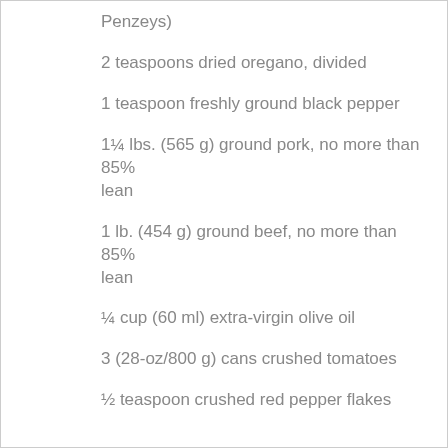Penzeys)
2 teaspoons dried oregano, divided
1 teaspoon freshly ground black pepper
1¼ lbs. (565 g) ground pork, no more than 85% lean
1 lb. (454 g) ground beef, no more than 85% lean
¼ cup (60 ml) extra-virgin olive oil
3 (28-oz/800 g) cans crushed tomatoes
½ teaspoon crushed red pepper flakes